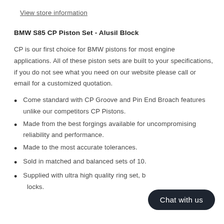View store information
BMW S85 CP Piston Set - Alusil Block
CP is our first choice for BMW pistons for most engine applications. All of these piston sets are built to your specifications, if you do not see what you need on our website please call or email for a customized quotation.
Come standard with CP Groove and Pin End Broach features unlike our competitors CP Pistons.
Made from the best forgings available for uncompromising reliability and performance.
Made to the most accurate tolerances.
Sold in matched and balanced sets of 10.
Supplied with ultra high quality ring set, b... locks.